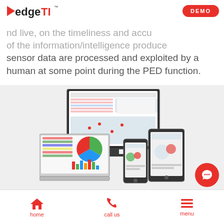edgeTI™  DEMO
nd live, on the timeliness and accu of the information/intelligence produce sensor data are processed and exploited by a human at some point during the PED function.
[Figure (screenshot): Product screenshot showing edgeTI dashboard interface on desktop monitor, laptop, tablet, and phone devices]
PED is a critical component of the DoD
home   call us   menu